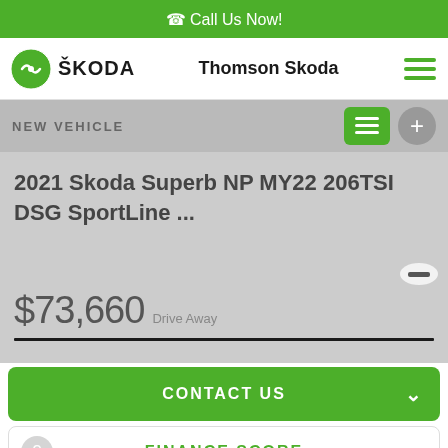Call Us Now!
[Figure (logo): Skoda logo with text SKODA and dealer name Thomson Skoda]
NEW VEHICLE
2021 Skoda Superb NP MY22 206TSI DSG SportLine ...
$73,660 Drive Away
CONTACT US
FINANCE SCORE